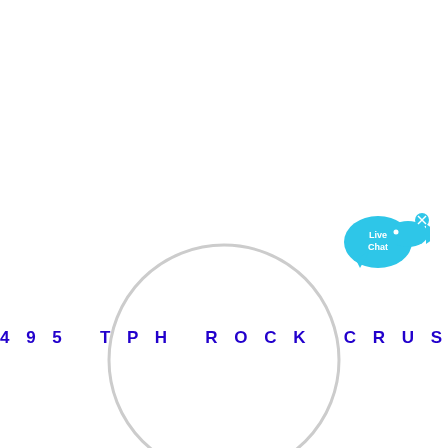[Figure (other): A loading spinner circle with a gray outline and a small black arc at the bottom, indicating a loading animation. To the right is a blue speech bubble with a fish icon labeled 'Live Chat' with an X close button.]
495 TPH ROCK CRUSHER UGANDA